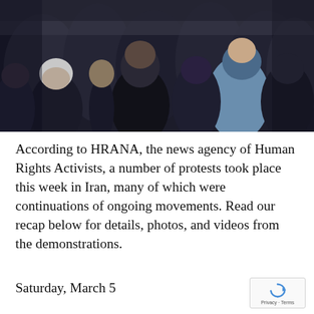[Figure (photo): Crowd of people from behind, mostly elderly and middle-aged individuals in a demonstration or gathering, dark tones with some blue and grey clothing]
According to HRANA, the news agency of Human Rights Activists, a number of protests took place this week in Iran, many of which were continuations of ongoing movements. Read our recap below for details, photos, and videos from the demonstrations.
Saturday, March 5